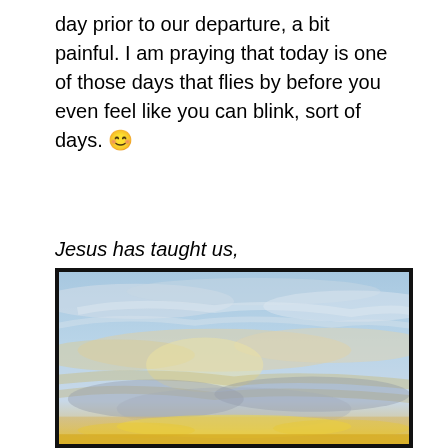day prior to our departure, a bit painful. I am praying that today is one of those days that flies by before you even feel like you can blink, sort of days. 😊
Jesus has taught us,
[Figure (photo): A photograph of a sky at sunrise or sunset, showing layered clouds in shades of blue, grey, and yellow/orange light near the horizon.]